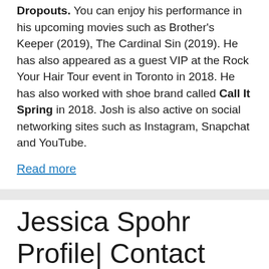Dropouts. You can enjoy his performance in his upcoming movies such as Brother's Keeper (2019), The Cardinal Sin (2019). He has also appeared as a guest VIP at the Rock Your Hair Tour event in Toronto in 2018. He has also worked with shoe brand called Call It Spring in 2018. Josh is also active on social networking sites such as Instagram, Snapchat and YouTube.
Read more
Jessica Spohr Profile| Contact Details (Phone number